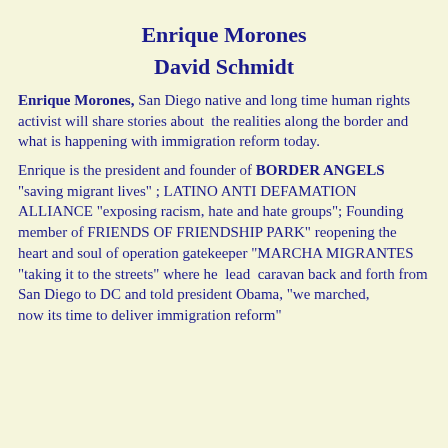Enrique Morones
David Schmidt
Enrique Morones, San Diego native and long time human rights activist will share stories about the realities along the border and what is happening with immigration reform today.
Enrique is the president and founder of BORDER ANGELS "saving migrant lives" ; LATINO ANTI DEFAMATION ALLIANCE "exposing racism, hate and hate groups"; Founding member of FRIENDS OF FRIENDSHIP PARK" reopening the heart and soul of operation gatekeeper "MARCHA MIGRANTES "taking it to the streets" where he lead caravan back and forth from San Diego to DC and told president Obama, "we marched, now its time to deliver immigration reform"